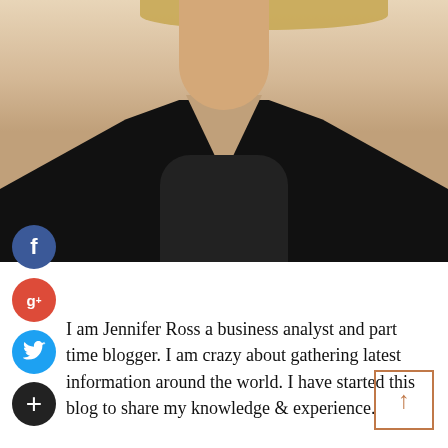[Figure (photo): Portrait photo of a woman wearing a black sleeveless v-neck top, photographed from shoulders up against a light background. Only the torso/chest/neck area is visible with blonde hair at top.]
I am Jennifer Ross a business analyst and part time blogger. I am crazy about gathering latest information around the world. I have started this blog to share my knowledge & experience.